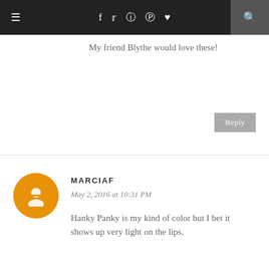≡  f  𝕥  📷  𝗽  ♥  🔍
My friend Blythe would love these!
Reply
MARCIAF
May 2, 2016 at 10:31 PM
Hanky Panky is my kind of color but I bet it shows up very light on the lips.
Reply
KATH THEFABZILLA